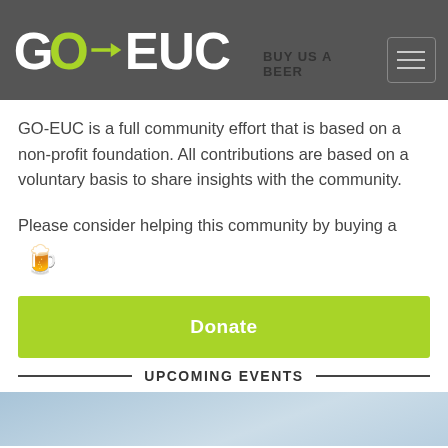GO-EUC | BUY US A BEER
GO-EUC is a full community effort that is based on a non-profit foundation. All contributions are based on a voluntary basis to share insights with the community.
Please consider helping this community by buying a 🍺
Donate
UPCOMING EVENTS
[Figure (photo): Upcoming events background image, outdoor/landscape scene with light blue tones]